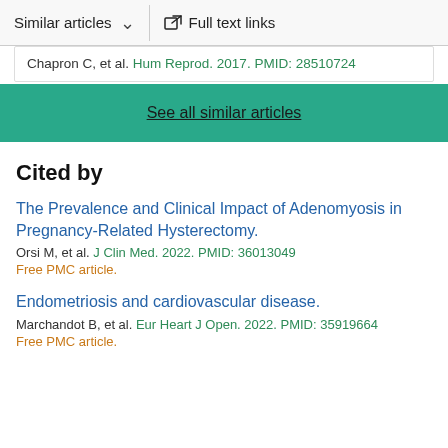Similar articles  ∨  Full text links
Chapron C, et al. Hum Reprod. 2017. PMID: 28510724
See all similar articles
Cited by
The Prevalence and Clinical Impact of Adenomyosis in Pregnancy-Related Hysterectomy.
Orsi M, et al. J Clin Med. 2022. PMID: 36013049
Free PMC article.
Endometriosis and cardiovascular disease.
Marchandot B, et al. Eur Heart J Open. 2022. PMID: 35919664
Free PMC article.